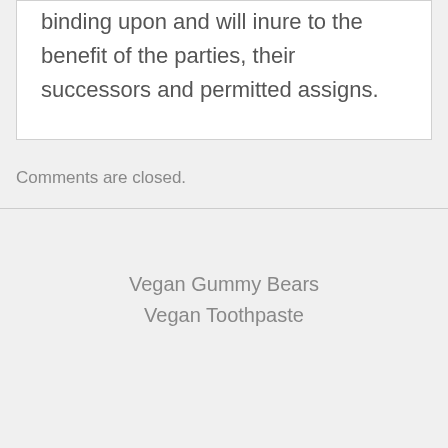binding upon and will inure to the benefit of the parties, their successors and permitted assigns.
Comments are closed.
Vegan Gummy Bears
Vegan Toothpaste